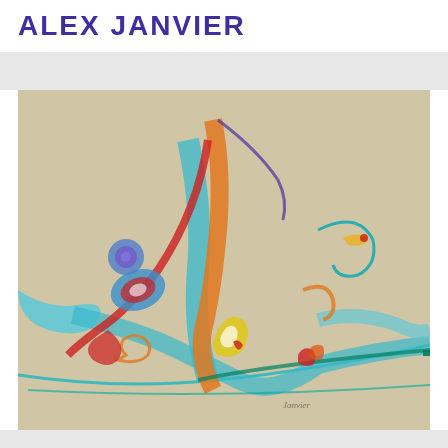ALEX JANVIER
[Figure (illustration): Abstract painting by Alex Janvier featuring fluid, swirling lines and shapes in bright colors including blue, red, orange, yellow, green, purple, and teal on a beige/tan background. The composition features dynamic curved forms that suggest natural or spiritual imagery, with a signature 'Janvier' visible in the lower right area of the painting.]